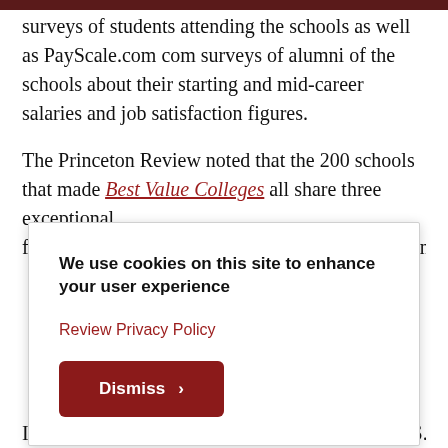surveys of students attending the schools as well as PayScale.com com surveys of alumni of the schools about their starting and mid-career salaries and job satisfaction figures.
The Princeton Review noted that the 200 schools that made Best Value Colleges all share three exceptional features outstanding academics, affordable cost, and...
We use cookies on this site to enhance your user experience
Review Privacy Policy
Dismiss ›
In August 2020, The Princeton Review awarded S...